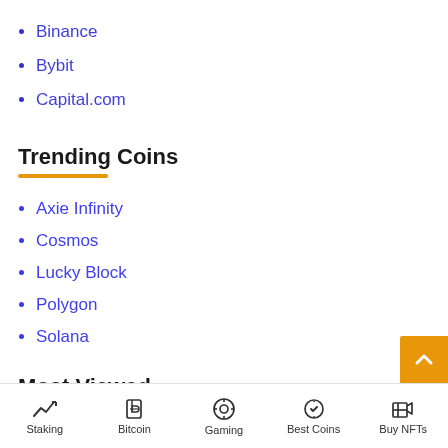Binance
Bybit
Capital.com
Trending Coins
Axie Infinity
Cosmos
Lucky Block
Polygon
Solana
Most Viewed
Staking | Bitcoin | Gaming | Best Coins | Buy NFTs